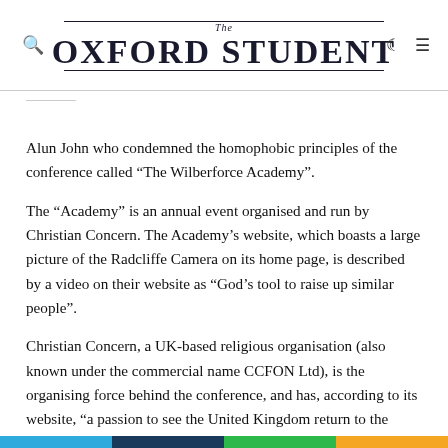The Oxford Student
Alun John who condemned the homophobic principles of the conference called “The Wilberforce Academy”.
The “Academy” is an annual event organised and run by Christian Concern. The Academy’s website, which boasts a large picture of the Radcliffe Camera on its home page, is described by a video on their website as “God’s tool to raise up similar people”.
Christian Concern, a UK-based religious organisation (also known under the commercial name CCFON Ltd), is the organising force behind the conference, and has, according to its website, “a passion to see the United Kingdom return to the Christian faith.” It also seeks to raise objection to “secular liberal humanism, moral relativism and sexual licence”.